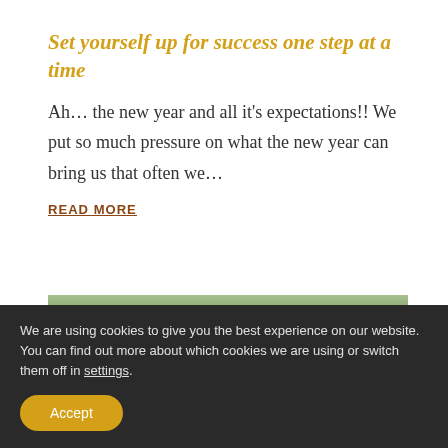Set yourself up for success one step at a time
Ah… the new year and all it's expectations!! We put so much pressure on what the new year can bring us that often we…
READ MORE
[Figure (photo): Outdoor photo showing a person's head/silhouette with trees and green foliage in background]
We are using cookies to give you the best experience on our website. You can find out more about which cookies we are using or switch them off in settings.
Accept